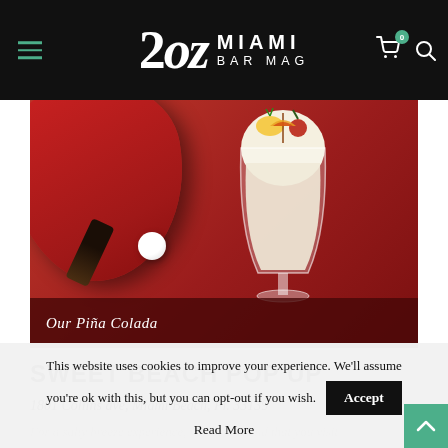2oz Miami Bar Mag
[Figure (photo): A Piña Colada cocktail in a tall glass garnished with pineapple, cherry and paper umbrella, on a red background with a ping pong paddle and ball. Caption reads: Our Piña Colada]
Our Piña Colada
SWEET BEACH POP UP
1801 Collins ave, Miami Beach, Fl. 33139
For a salty breeze experience, we recommend that you visit
This website uses cookies to improve your experience. We'll assume you're ok with this, but you can opt-out if you wish.
Accept
Read More